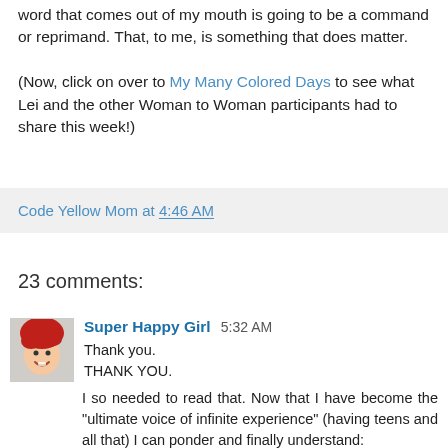word that comes out of my mouth is going to be a command or reprimand. That, to me, is something that does matter.
(Now, click on over to My Many Colored Days to see what Lei and the other Woman to Woman participants had to share this week!)
Code Yellow Mom at 4:46 AM
23 comments:
Super Happy Girl 5:32 AM
Thank you.
THANK YOU.

I so needed to read that. Now that I have become the "ultimate voice of infinite experience" (having teens and all that) I can ponder and finally understand:
Did it really matter...if Firstborn had one more popsicle?"
No. IT DID NOT.